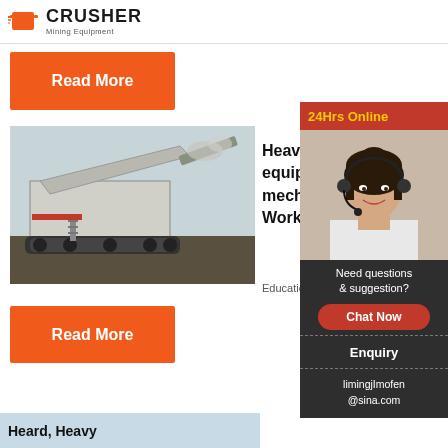[Figure (logo): Crusher Mining Equipment logo with orange bag icon and bold text]
Read More
[Figure (photo): Heavy mining crusher machine on tracks in outdoor setting]
Heavy- equipm mecha WorkBo
Education
Read More
Heavy
[Figure (photo): 24Hrs Online support agent - woman with headset smiling]
24Hrs Online
Need questions & suggestion?
Chat Now
Enquiry
limingjImofen@sina.com